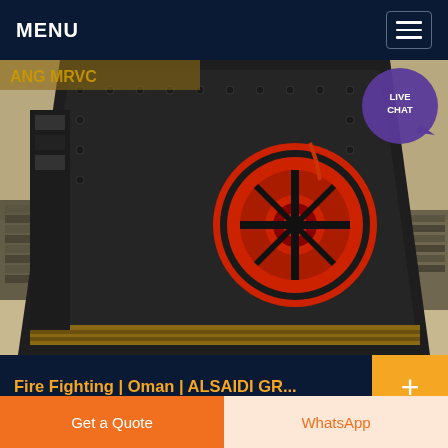MENU
[Figure (photo): Industrial heavy machinery (impact crusher or similar) photographed in a warehouse/industrial setting. Machine is large, black/dark metal with a prominent red circular component (flywheel or impeller) visible on the side.]
Fire Fighting | Oman | ALSAIDI GR...
Al Saidi Engineering Trading LLC is an Omani company engaged in supply, installation, service and maintenance of engineering
Get a Quote
WhatsApp